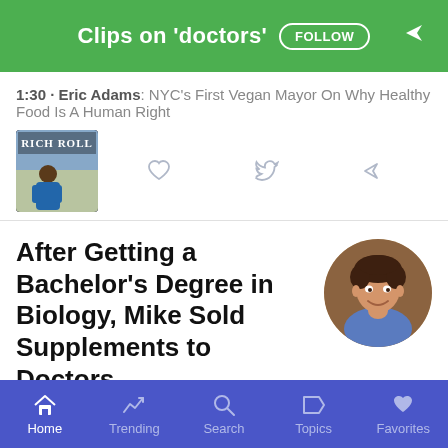Clips on 'doctors' FOLLOW
1:30 · Eric Adams: NYC's First Vegan Mayor On Why Healthy Food Is A Human Right
[Figure (photo): Podcast thumbnail for Rich Roll podcast showing a person sitting outdoors]
After Getting a Bachelor's Degree in Biology, Mike Sold Supplements to Doctors
[Figure (photo): Circular avatar photo of Mike Mutzel, a young man with curly hair smiling]
2:21 · 176: Why Calorie Counting Fails, The Science of Saunas, and Mouth-Taping for Better Sleep | Mike Mutzel, MS
Home   Trending   Search   Topics   Favorites